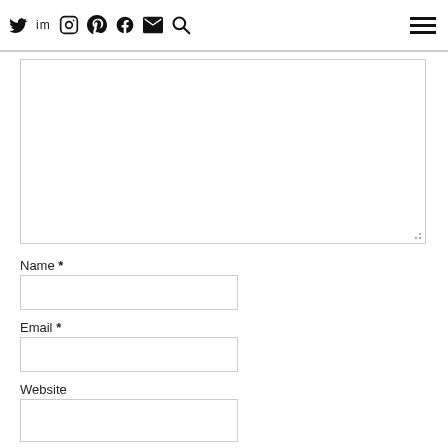Social media icons and navigation menu
[Figure (other): Large comment textarea with resize handle]
Name *
[Figure (other): Name input field]
Email *
[Figure (other): Email input field]
Website
[Figure (other): Website input field]